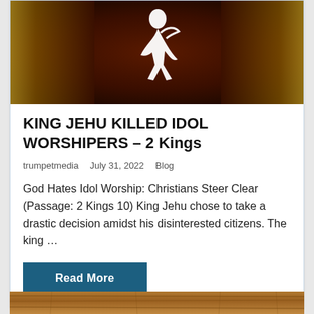[Figure (illustration): Dark brown and gold textured banner image with a white stylized figure/logo in the center]
KING JEHU KILLED IDOL WORSHIPERS – 2 Kings
trumpetmedia   July 31, 2022   Blog
God Hates Idol Worship: Christians Steer Clear (Passage: 2 Kings 10) King Jehu chose to take a drastic decision amidst his disinterested citizens. The king …
Read More
[Figure (photo): Partial wooden texture image at the bottom of the page, cut off]